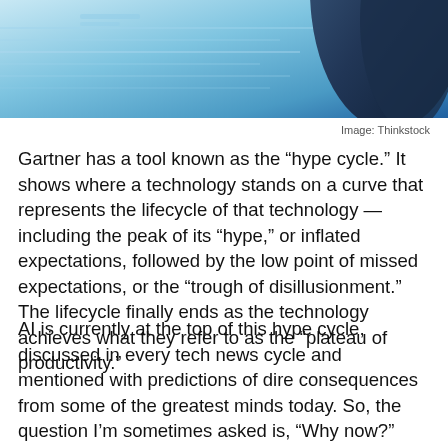[Figure (photo): Photo showing a person in a dark blue suit against a light blue digital/technology background with faint horizontal lines]
Image: Thinkstock
Gartner has a tool known as the “hype cycle.” It shows where a technology stands on a curve that represents the lifecycle of that technology — including the peak of its “hype,” or inflated expectations, followed by the low point of missed expectations, or the “trough of disillusionment.” The lifecycle finally ends as the technology achieves what they refer to as the “plateau of productivity.”
AI is currently at the top of this hype cycle, discussed in every tech news cycle and mentioned with predictions of dire consequences from some of the greatest minds today. So, the question I’m sometimes asked is, “Why now?” Aren’t we headed toward that